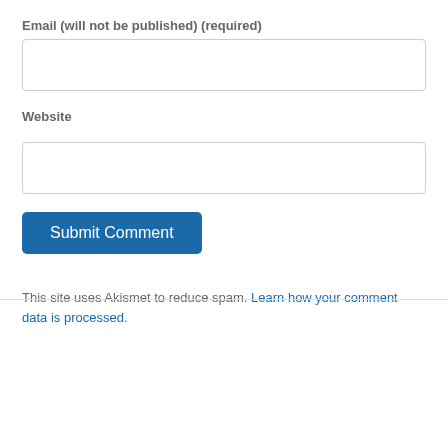Email (will not be published) (required)
[Figure (other): Text input field for email address]
Website
[Figure (other): Text input field for website URL]
[Figure (other): Submit Comment button]
This site uses Akismet to reduce spam. Learn how your comment data is processed.